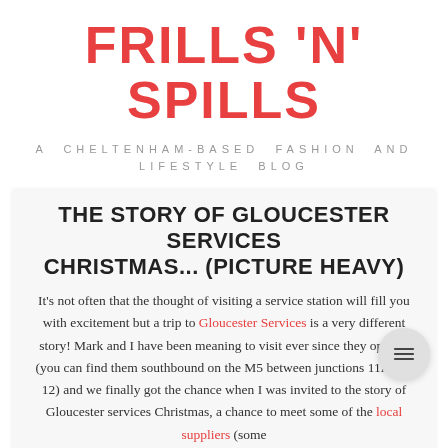FRILLS 'N' SPILLS
A CHELTENHAM-BASED FASHION AND LIFESTYLE BLOG
THE STORY OF GLOUCESTER SERVICES CHRISTMAS... (PICTURE HEAVY)
It's not often that the thought of visiting a service station will fill you with excitement but a trip to Gloucester Services is a very different story! Mark and I have been meaning to visit ever since they opened (you can find them southbound on the M5 between junctions 11A and 12) and we finally got the chance when I was invited to the story of Gloucester services Christmas, a chance to meet some of the local suppliers (some